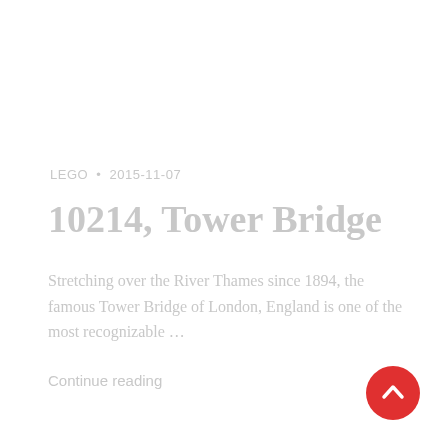LEGO • 2015-11-07
10214, Tower Bridge
Stretching over the River Thames since 1894, the famous Tower Bridge of London, England is one of the most recognizable …
Continue reading
[Figure (illustration): Red circular scroll-to-top button with white upward chevron arrow]